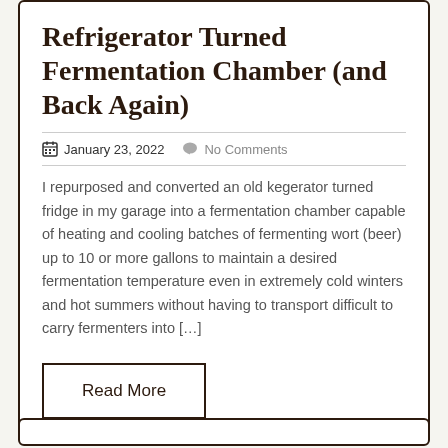Refrigerator Turned Fermentation Chamber (and Back Again)
January 23, 2022   No Comments
I repurposed and converted an old kegerator turned fridge in my garage into a fermentation chamber capable of heating and cooling batches of fermenting wort (beer) up to 10 or more gallons to maintain a desired fermentation temperature even in extremely cold winters and hot summers without having to transport difficult to carry fermenters into […]
Read More